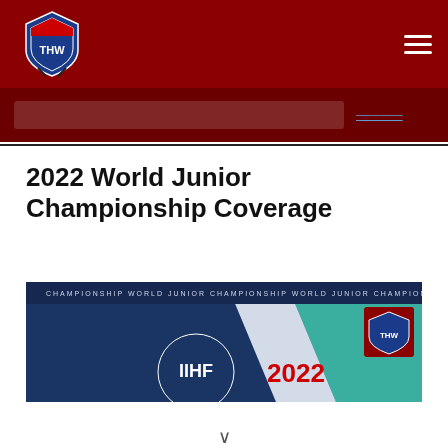[Figure (logo): THW hockey website logo - shield shape with THW text and hockey sticks, on dark red navigation bar with hamburger menu icon]
[Figure (screenshot): Article banner image for 2022 World Junior Championship Coverage showing IIHF World Junior Championship branding with dark blue background, teal accent, THW logo in corner]
2022 World Junior Championship Coverage